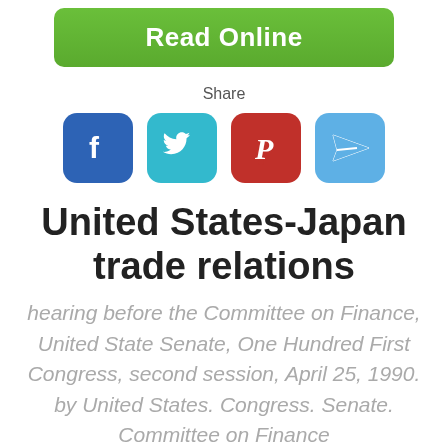[Figure (other): Green 'Read Online' button]
Share
[Figure (other): Social share icons: Facebook, Twitter, Pinterest, Share/Email]
United States-Japan trade relations
hearing before the Committee on Finance, United State Senate, One Hundred First Congress, second session, April 25, 1990. by United States. Congress. Senate. Committee on Finance